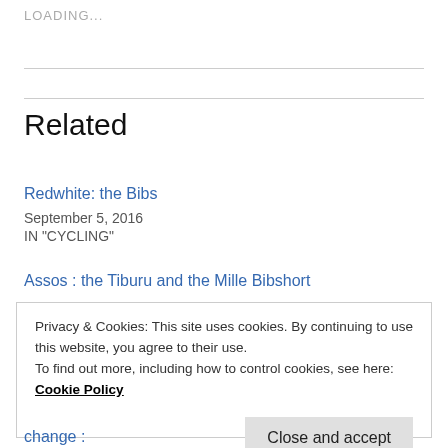LOADING...
Related
Redwhite: the Bibs
September 5, 2016
IN "CYCLING"
Assos : the Tiburu and the Mille Bibshort
Privacy & Cookies: This site uses cookies. By continuing to use this website, you agree to their use.
To find out more, including how to control cookies, see here: Cookie Policy
Close and accept